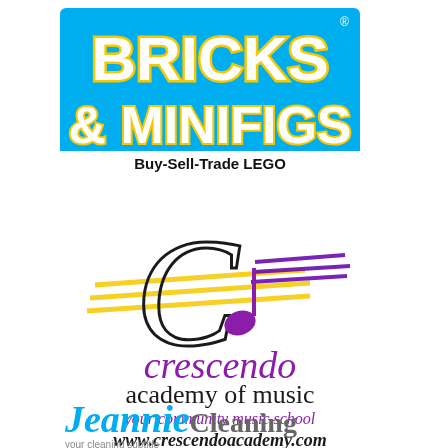[Figure (logo): Bricks & Minifigs logo on cyan/blue background with yellow outlined white block letters reading BRICKS & MINIFIGS and tagline Buy-Sell-Trade LEGO]
[Figure (logo): Crescendo Academy of Music logo featuring decorative C with musical staff lines in gold and purple, purple musical note, text: crescendo academy of music, your community music school, www.crescendoacademy.com]
[Figure (logo): Jeannie Cleaning logo partially visible at bottom of page with cursive text and photo of woman]